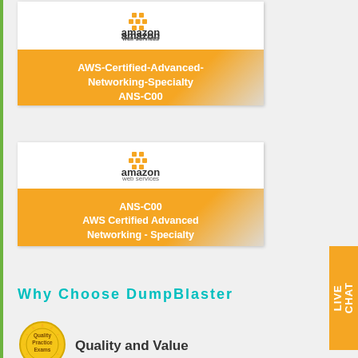[Figure (screenshot): AWS certification card with Amazon Web Services logo at top on white background, then orange banner with text: AWS-Certified-Advanced-Networking-Specialty ANS-C00, then grey/silver decorative stripe at bottom]
[Figure (screenshot): AWS certification card with Amazon Web Services logo at top on white background, then orange banner with text: ANS-C00 AWS Certified Advanced Networking - Specialty, then grey/silver decorative stripe at bottom]
Why Choose DumpBlaster
[Figure (logo): Quality Practice Exams gold seal badge]
Quality and Value